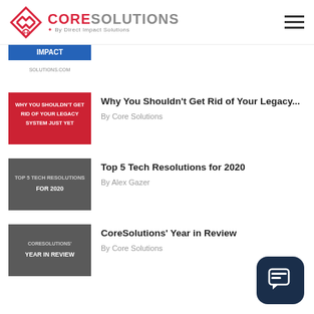CORE SOLUTIONS By Direct Impact Solutions
[Figure (screenshot): Partial thumbnail showing a blue and yellow banner with text IMPACT SOLUTIONS.COM]
[Figure (screenshot): Red thumbnail with white bold text: WHY YOU SHOULDN'T GET RID OF YOUR LEGACY SYSTEM JUST YET]
Why You Shouldn't Get Rid of Your Legacy...
By Core Solutions
[Figure (screenshot): Dark grey thumbnail with white text: TOP 5 TECH RESOLUTIONS FOR 2020]
Top 5 Tech Resolutions for 2020
By Alex Gazer
[Figure (screenshot): Dark grey thumbnail with white text: CORESOLUTIONS' YEAR IN REVIEW]
CoreSolutions' Year in Review
By Core Solutions